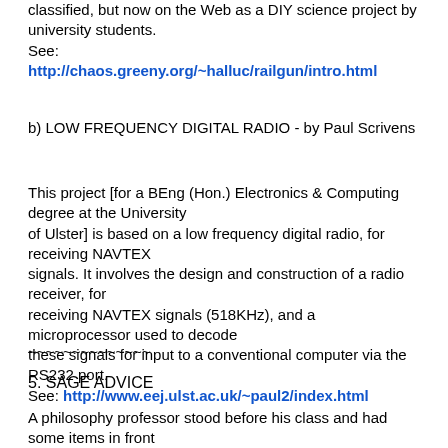classified, but now on the Web as a DIY science project by university students.
See:
http://chaos.greeny.org/~halluc/railgun/intro.html
b) LOW FREQUENCY DIGITAL RADIO - by Paul Scrivens
This project [for a BEng (Hon.) Electronics & Computing degree at the University of Ulster] is based on a low frequency digital radio, for receiving NAVTEX signals. It involves the design and construction of a radio receiver, for receiving NAVTEX signals (518KHz), and a microprocessor used to decode these signals for input to a conventional computer via the RS232 port.
See: http://www.eej.ulst.ac.uk/~paul2/index.html
~~~~~~~~~~~~~~
5. SAGE ADVICE
A philosophy professor stood before his class and had some items in front of him.